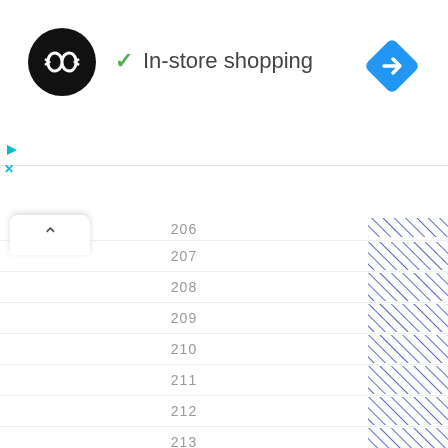[Figure (screenshot): App header with circular logo (dark background with infinity-like symbol), checkmark and 'In-store shopping' text, blue diamond navigation icon, ad play/close controls]
[Figure (screenshot): Collapse/up-arrow button tab]
| Row number | Hatched column |
| --- | --- |
| 206 | //// |
| 207 | //// |
| 208 | //// |
| 209 | //// |
| 210 | //// |
| 211 | //// |
| 212 | //// |
| 213 | //// |
| 214 | //// |
| 215 | //// |
| 216 | //// |
| 217 | //// |
| 218 | //// |
| 219 | //// |
| 220 | //// |
| 221 | //// |
| 222 | //// |